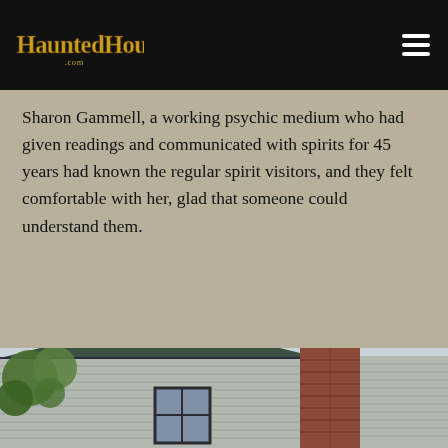HauntedHouses.com
Sharon Gammell, a working psychic medium who had given readings and communicated with spirits for 45 years had known the regular spirit visitors, and they felt comfortable with her, glad that someone could understand them.
[Figure (photo): Exterior photo of a house showing gray siding, a brick chimney, green roof trim, windows, and tree branches in the foreground against a light sky.]